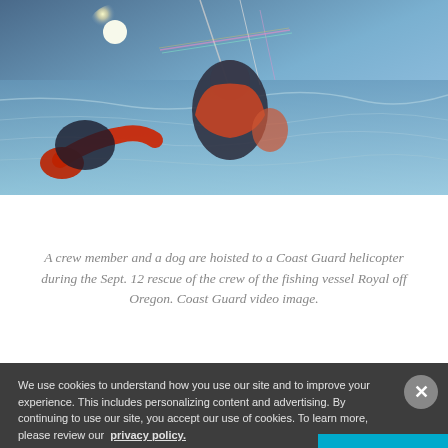[Figure (photo): A Coast Guard rescue video still image showing a crew member and a dog being hoisted up to a helicopter. The scene shows figures in orange/red rescue gear against a shimmering water background.]
A crew member and a dog are hoisted to a Coast Guard helicopter during the Sept. 12 rescue of the crew of the fishing vessel Royal off Oregon. Coast Guard video image.
We use cookies to understand how you use our site and to improve your experience. This includes personalizing content and advertising. By continuing to use our site, you accept our use of cookies. To learn more, please review our privacy policy.